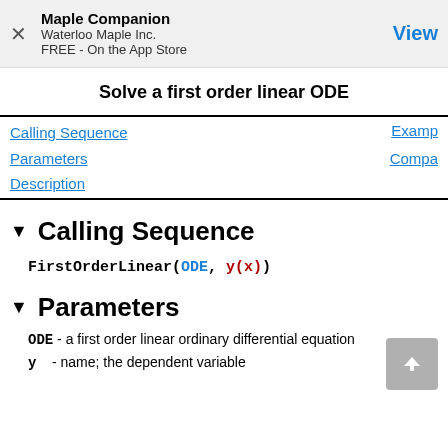Maple Companion
Waterloo Maple Inc.
FREE - On the App Store
View
Solve a first order linear ODE
Calling Sequence
Parameters
Description
Examples
Compatibility
Calling Sequence
Parameters
ODE - a first order linear ordinary differential equation
y - name; the dependent variable